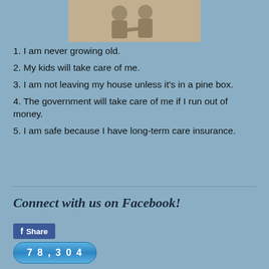[Figure (photo): Sepia-toned photo of two elderly people, cropped at the top of the page]
1. I am never growing old.
2. My kids will take care of me.
3. I am not leaving my house unless it's in a pine box.
4. The government will take care of me if I run out of money.
5. I am safe because I have long-term care insurance.
Connect with us on Facebook!
[Figure (other): Facebook Share button (blue, with Facebook icon)]
78,304